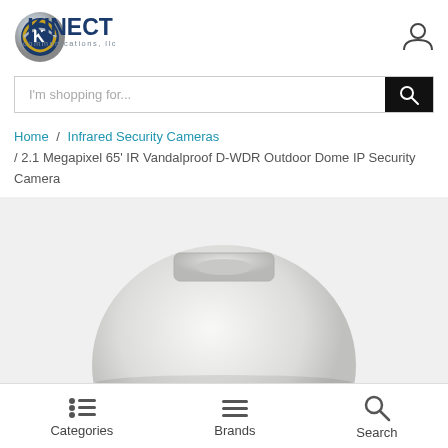[Figure (logo): Kinect Communications LLC logo with stylized globe/swirl icon in blue, gold, and silver, with dark blue KINECT text and gray 'communications, llc' text below]
[Figure (other): User/account icon (person silhouette) in top right corner]
I'm shopping for...
Home / Infrared Security Cameras / 2.1 Megapixel 65' IR Vandalproof D-WDR Outdoor Dome IP Security Camera
[Figure (photo): Top portion of a white dome security camera on light gray background]
[Figure (other): Bottom navigation bar with Categories (list icon), Brands (hamburger menu icon), and Search (magnifying glass icon)]